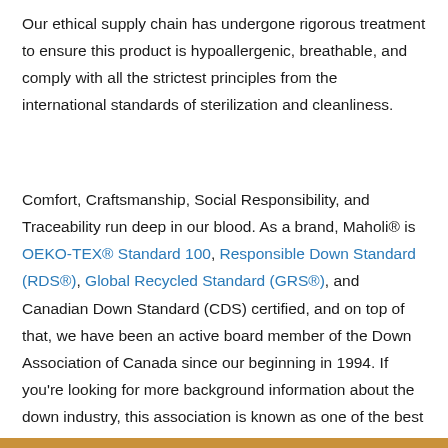Our ethical supply chain has undergone rigorous treatment to ensure this product is hypoallergenic, breathable, and comply with all the strictest principles from the international standards of sterilization and cleanliness.
Comfort, Craftsmanship, Social Responsibility, and Traceability run deep in our blood. As a brand, Maholi® is OEKO-TEX® Standard 100, Responsible Down Standard (RDS®), Global Recycled Standard (GRS®), and Canadian Down Standard (CDS) certified, and on top of that, we have been an active board member of the Down Association of Canada since our beginning in 1994. If you're looking for more background information about the down industry, this association is known as one of the best sources in the world for accurate facts about down and feathers. We track our sources and suppliers every step of the way to ensure our naturally luxurious materials come from ducks and geese that are